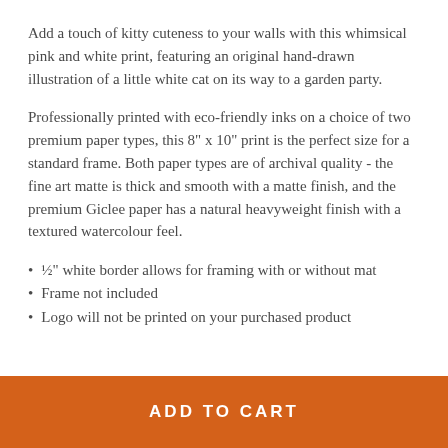Add a touch of kitty cuteness to your walls with this whimsical pink and white print, featuring an original hand-drawn illustration of a little white cat on its way to a garden party.
Professionally printed with eco-friendly inks on a choice of two premium paper types, this 8" x 10" print is the perfect size for a standard frame. Both paper types are of archival quality - the fine art matte is thick and smooth with a matte finish, and the premium Giclee paper has a natural heavyweight finish with a textured watercolour feel.
½" white border allows for framing with or without mat
Frame not included
Logo will not be printed on your purchased product
ADD TO CART